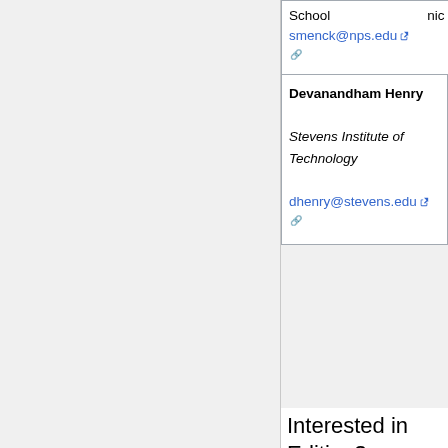| School
smenck@nps.edu | nic |
| Devanandham Henry

Stevens Institute of Technology

dhenry@stevens.edu |  |
Interested in Editing?
The Editor in Chief and Co-Editor in Chief are looking for additional editors to support the evolution of the SEBoK. Editors are responsible for maintaining and updating two to four